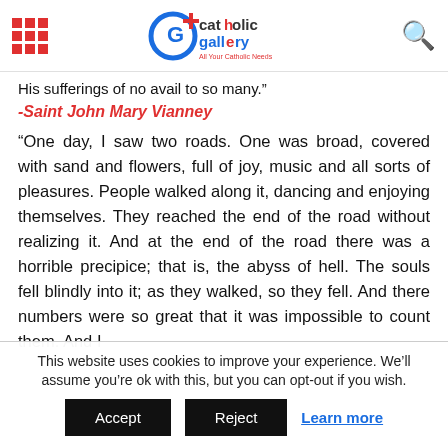Catholic Gallery - All Your Catholic Needs
His sufferings of no avail to so many.”
-Saint John Mary Vianney
“One day, I saw two roads. One was broad, covered with sand and flowers, full of joy, music and all sorts of pleasures. People walked along it, dancing and enjoying themselves. They reached the end of the road without realizing it. And at the end of the road there was a horrible precipice; that is, the abyss of hell. The souls fell blindly into it; as they walked, so they fell. And there numbers were so great that it was impossible to count them. And I
This website uses cookies to improve your experience. We’ll assume you’re ok with this, but you can opt-out if you wish.